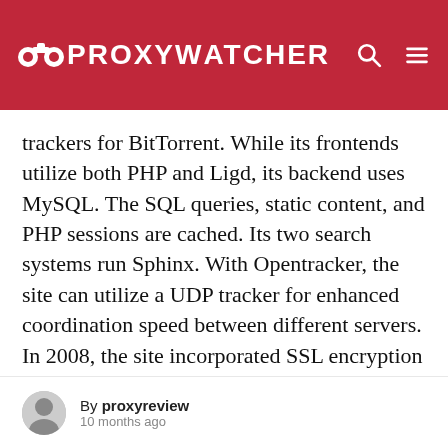PROXYWATCHER
trackers for BitTorrent. While its frontends utilize both PHP and Ligd, its backend uses MySQL. The SQL queries, static content, and PHP sessions are cached. Its two search systems run Sphinx. With Opentracker, the site can utilize a UDP tracker for enhanced coordination speed between different servers. In 2008, the site incorporated SSL encryption into its servers in response to the introduction of spying law in Sweden in June that year. The
By proxyreview
10 months ago